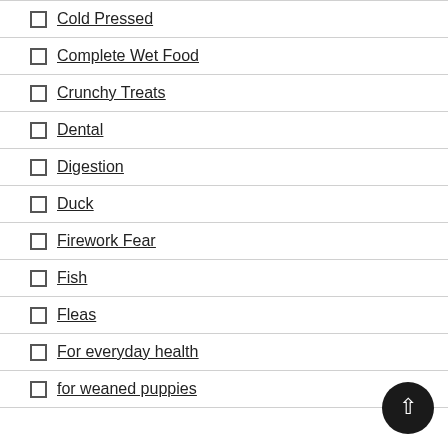Cold Pressed
Complete Wet Food
Crunchy Treats
Dental
Digestion
Duck
Firework Fear
Fish
Fleas
For everyday health
for weaned puppies